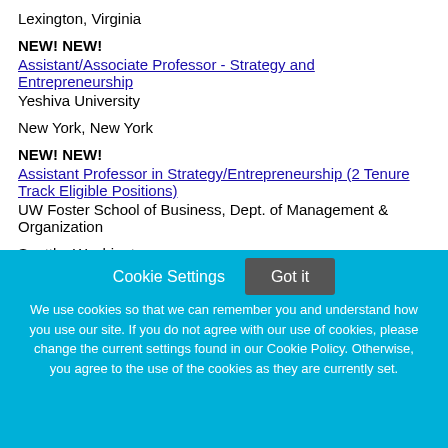Lexington, Virginia
NEW! NEW!
Assistant/Associate Professor - Strategy and Entrepreneurship
Yeshiva University
New York, New York
NEW! NEW!
Assistant Professor in Strategy/Entrepreneurship (2 Tenure Track Eligible Positions)
UW Foster School of Business, Dept. of Management & Organization
Seattle, Washington
Cookie Settings
Got it
We use cookies so that we can remember you and understand how you use our site. If you do not agree with our use of cookies, please change the current settings found in our Cookie Policy. Otherwise, you agree to the use of the cookies as they are currently set.